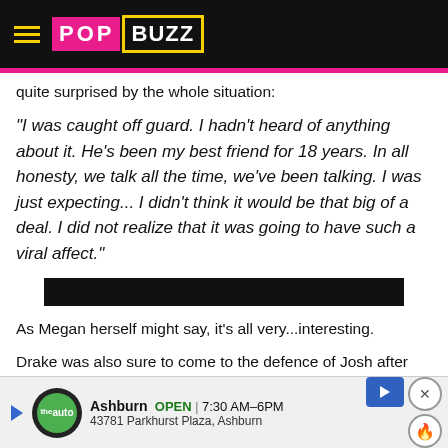PopBuzz
quite surprised by the whole situation:
"I was caught off guard. I hadn't heard of anything about it. He's been my best friend for 18 years. In all honesty, we talk all the time, we've been talking. I was just expecting... I didn't think it would be that big of a deal. I did not realize that it was going to have such a viral affect."
[Figure (other): Redacted black bar]
As Megan herself might say, it's all very...interesting.
Drake was also sure to come to the defence of Josh after fans of the...
"That...ngs
[Figure (other): Advertisement overlay for auto shop in Ashburn, showing logo, open hours 7:30AM-6PM, address 43781 Parkhurst Plaza Ashburn, with navigation arrow, close button, and fire icon]